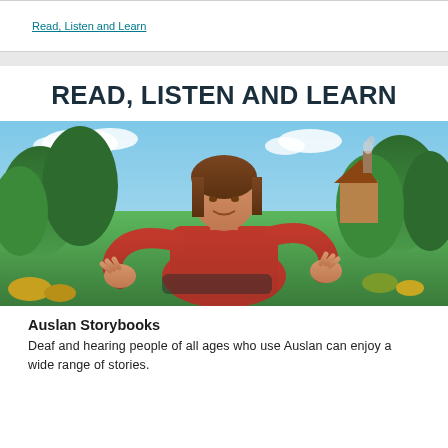READ, LISTEN AND LEARN
[Figure (photo): A woman in a red top signing in Auslan against a colourful illustrated storybook background featuring green meadows, trees, blue sky, and a small house with a chimney.]
Auslan Storybooks
Deaf and hearing people of all ages who use Auslan can enjoy a wide range of stories.